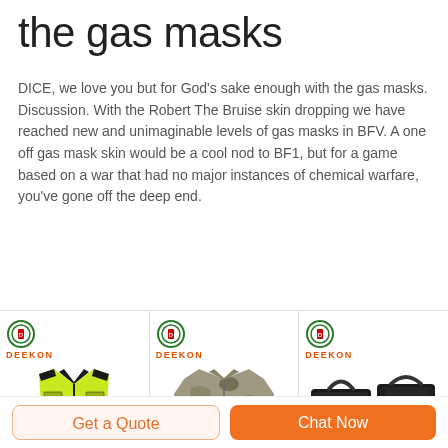the gas masks
DICE, we love you but for God’s sake enough with the gas masks. Discussion. With the Robert The Bruise skin dropping we have reached new and unimaginable levels of gas masks in BFV. A one off gas mask skin would be a cool nod to BF1, but for a game based on a war that had no major instances of chemical warfare, you’ve gone off the deep end.
[Figure (photo): Three product images with Deekon branding: a yellow/green safety vest, a camouflage jacket, and two black leather briefcase bags]
Get a Quote
Chat Now